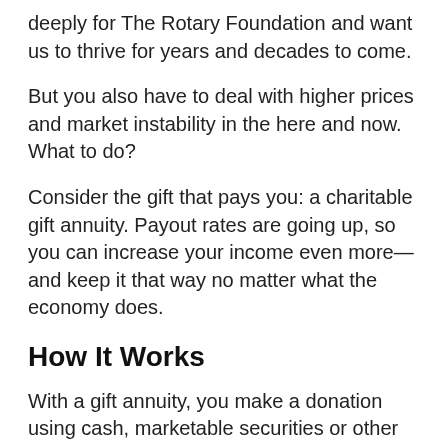deeply for The Rotary Foundation and want us to thrive for years and decades to come.
But you also have to deal with higher prices and market instability in the here and now. What to do?
Consider the gift that pays you: a charitable gift annuity. Payout rates are going up, so you can increase your income even more—and keep it that way no matter what the economy does.
How It Works
With a gift annuity, you make a donation using cash, marketable securities or other assets, and we, in turn, pay you a fixed amount for life. You'll receive reliable, predictable payments...